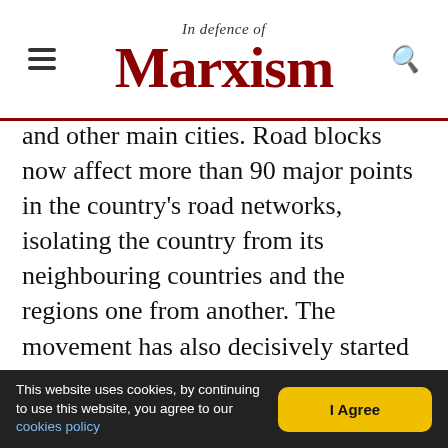In Defence of Marxism
and other main cities. Road blocks now affect more than 90 major points in the country's road networks, isolating the country from its neighbouring countries and the regions one from another. The movement has also decisively started in Santa Cruz. In this region, where the ruling class had managed to build some support on the basis of the demagogic demand for “autonomy”, the peasants and workers have started to demonstrate and set up roadblocks.
An important turning point was the attack last week on a peasant’s demo by the fascist gangs of the
This website uses cookies, by continuing to use this website, you agree to our cookies policy  |  I Agree